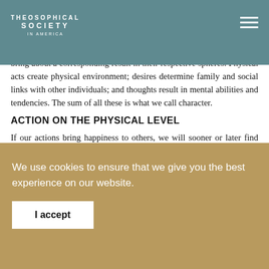THEOSOPHICAL SOCIETY IN AMERICA
permutations and combinations in human life, anyone can grasp and employ certain basic principles immediately. We live in three worlds—physical, emotional, and mental. We generate energies or forces as we act in each world. These energies bring about a corresponding result in their respective spheres. Physical acts create physical environment; desires determine family and social links with other individuals; and thoughts result in mental abilities and tendencies. The sum of all these is what we call character.
ACTION ON THE PHYSICAL LEVEL
If our actions bring happiness to others, we will sooner or later find ourselves in a fortunate environment, with an
We use cookies to ensure that we give you the best experience on our website.
I accept